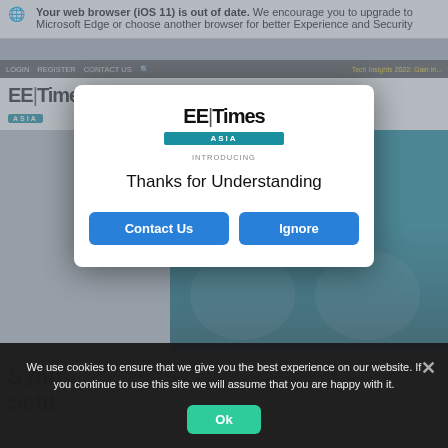Your web browser (iOS 11) is out of date. We encourage you to upgrade to Microsoft Edge or choose another browser for better Experience and Security
EE|Times ASIA
Continue to the Site
[Figure (screenshot): EE Times Asia website screenshot showing article page with Auracast advertisement popup in background]
INTRODUCING
Thanks for Understanding
Contact Us
Ignore
Home » EDA
Syno... ent Settle...
Artic...
We use cookies to ensure that we give you the best experience on our website. If you continue to use this site we will assume that you are happy with it.
Ok